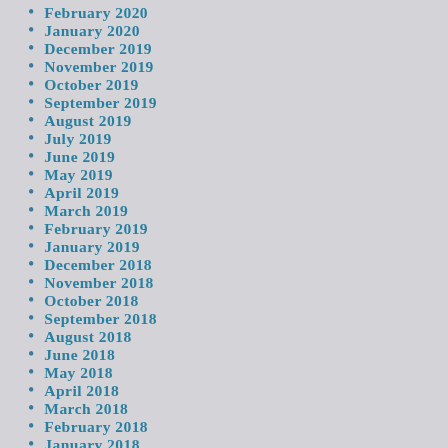February 2020
January 2020
December 2019
November 2019
October 2019
September 2019
August 2019
July 2019
June 2019
May 2019
April 2019
March 2019
February 2019
January 2019
December 2018
November 2018
October 2018
September 2018
August 2018
June 2018
May 2018
April 2018
March 2018
February 2018
January 2018
December 2017